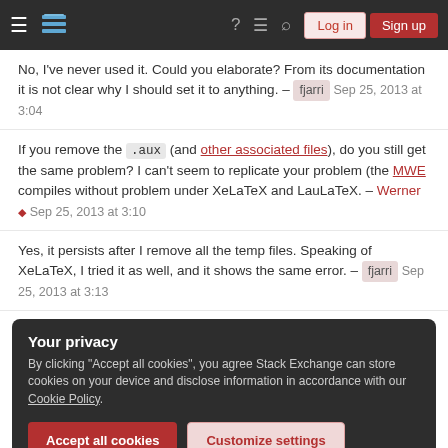Stack Exchange header navigation bar with hamburger menu, logo, help, chat, search, Log in and Sign up buttons
No, I've never used it. Could you elaborate? From its documentation it is not clear why I should set it to anything. – fjarri Sep 25, 2013 at 3:04
If you remove the .aux (and other associated files), do you still get the same problem? I can't seem to replicate your problem (the MWE compiles without problem under XeLaTeX and LauLaTeX. – Werner ♦ Sep 25, 2013 at 3:10
Yes, it persists after I remove all the temp files. Speaking of XeLaTeX, I tried it as well, and it shows the same error. – fjarri Sep 25, 2013 at 3:13
Your privacy
By clicking "Accept all cookies", you agree Stack Exchange can store cookies on your device and disclose information in accordance with our Cookie Policy.
Accept all cookies   Customize settings
1 Answer